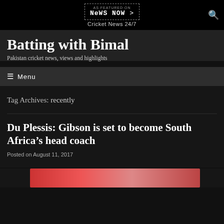AS FEATURED ON NEWS NOW > | Cricket News 24/7
Batting with Bimal
Pakistan cricket news, views and highlights
☰ Menu
Tag Archives: recently
Du Plessis: Gibson is set to become South Africa's head coach
Posted on August 11, 2017